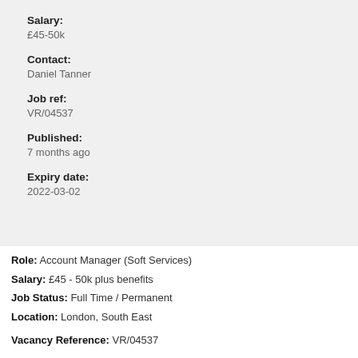Salary:
£45-50k
Contact:
Daniel Tanner
Job ref:
VR/04537
Published:
7 months ago
Expiry date:
2022-03-02
Role: Account Manager (Soft Services)
Salary: £45 - 50k plus benefits
Job Status: Full Time / Permanent
Location: London, South East
Vacancy Reference: VR/04537